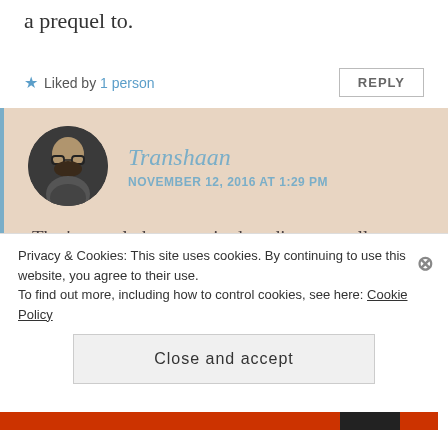a prequel to.
★ Liked by 1 person
REPLY
Transhaan
NOVEMBER 12, 2016 AT 1:29 PM
That's exactly how required reading normally should go! We should all have the ability to read it on our own before discussing and exploring the various ideas in
Privacy & Cookies: This site uses cookies. By continuing to use this website, you agree to their use.
To find out more, including how to control cookies, see here: Cookie Policy
Close and accept